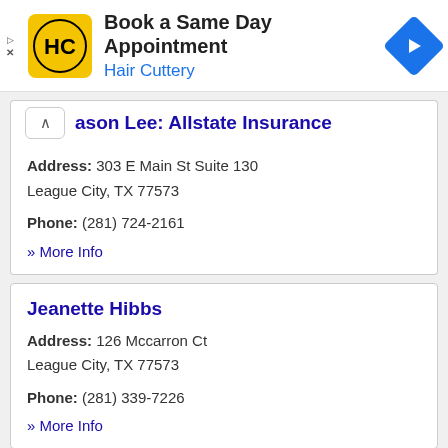[Figure (logo): Hair Cuttery advertisement banner with HC logo, 'Book a Same Day Appointment' title, 'Hair Cuttery' subtitle, and navigation arrow icon]
Jason Lee: Allstate Insurance
Address: 303 E Main St Suite 130
League City, TX 77573
Phone: (281) 724-2161
» More Info
Jeanette Hibbs
Address: 126 Mccarron Ct
League City, TX 77573
Phone: (281) 339-7226
» More Info